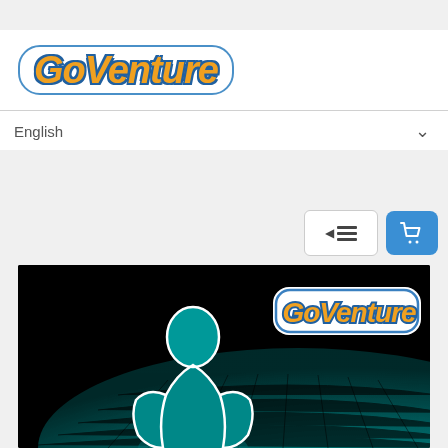[Figure (logo): GoVenture logo with orange italic bold text and blue rounded border outline]
English
[Figure (screenshot): GoVenture hero image: dark background with teal grid landscape and silhouette of a person from behind, GoVenture logo in upper right]